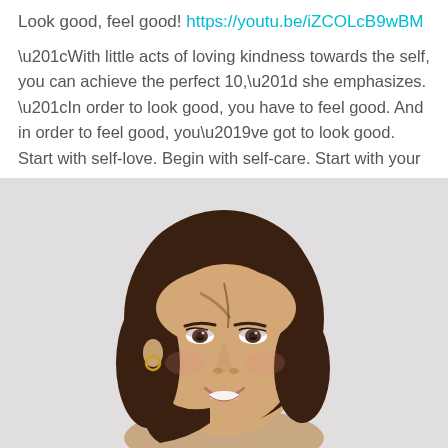Look good, feel good! https://youtu.be/iZCOLcB9wBM
“With little acts of loving kindness towards the self, you can achieve the perfect 10,” she emphasizes. “In order to look good, you have to feel good. And in order to feel good, you’ve got to look good. Start with self-love. Begin with self-care. Start with your hair.”
[Figure (photo): Portrait photo of a smiling woman with a dark brown bob haircut, wearing a light green top and gold hoop earrings, against a light grey-white background.]